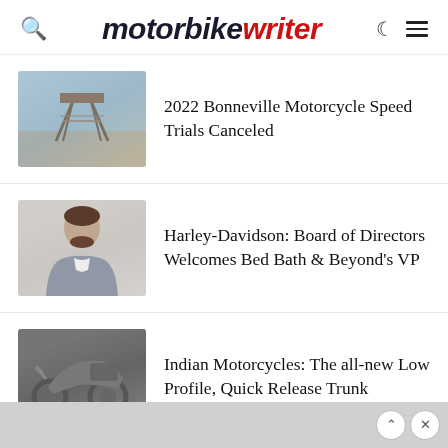motorbike writer
[Figure (photo): Bonneville salt flats structure/timing tower in a hazy landscape]
2022 Bonneville Motorcycle Speed Trials Canceled
[Figure (photo): Headshot of a man in a suit, business professional portrait]
Harley-Davidson: Board of Directors Welcomes Bed Bath & Beyond's VP
[Figure (photo): Indian motorcycle with a trunk accessory, dark background]
Indian Motorcycles: The all-new Low Profile, Quick Release Trunk